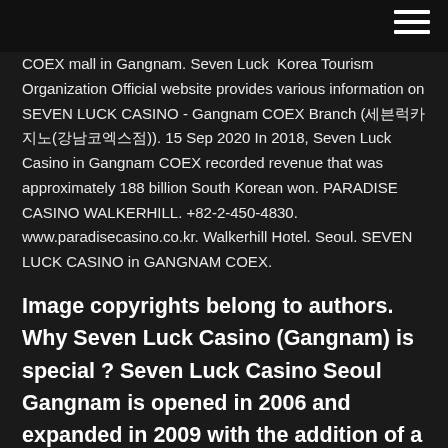COEX mall in Gangnam. Seven Luck Korea Tourism Organization Official website provides various information on SEVEN LUCK CASINO - Gangnam COEX Branch (세븐럭카지노(강남코엑스점)). 15 Sep 2020 In 2018, Seven Luck Casino in Gangnam COEX recorded revenue that was approximately 188 billion South Korean won. PARADISE CASINO WALKERHILL. +82-2-450-4830. www.paradisecasino.co.kr. Walkerhill Hotel. Seoul. SEVEN LUCK CASINO in GANGNAM COEX.
Image copyrights belong to authors. Why Seven Luck Casino (Gangnam) is special ? Seven Luck Casino Seoul Gangnam is opened in 2006 and expanded in 2009 with the addition of a third floor VIP casino, it is a Korean-style casino with an